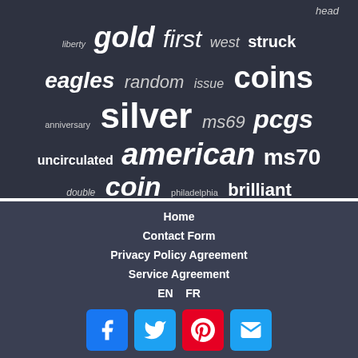[Figure (infographic): Word cloud of coin-related keywords on dark background: head, gold, first, west, struck, liberty, eagles, random, issue, coins, silver, ms69, pcgs, anniversary, uncirculated, american, ms70, double, coin, philadelphia, brilliant]
Home
Contact Form
Privacy Policy Agreement
Service Agreement
EN   FR
[Figure (infographic): Social media buttons: Facebook, Twitter, Pinterest, Email]